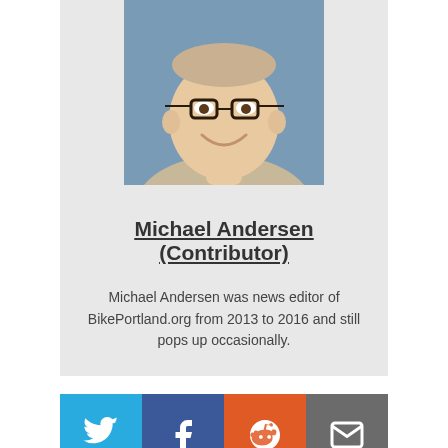[Figure (photo): Headshot photo of Michael Andersen, a young man with glasses smiling]
Michael Andersen (Contributor)
Michael Andersen was news editor of BikePortland.org from 2013 to 2016 and still pops up occasionally.
[Figure (infographic): Social share buttons: Twitter (blue), Facebook (dark blue), Reddit (orange), Email (gray)]
Hi! Thanks for reading. Since 2005 BikePortland has been a vital